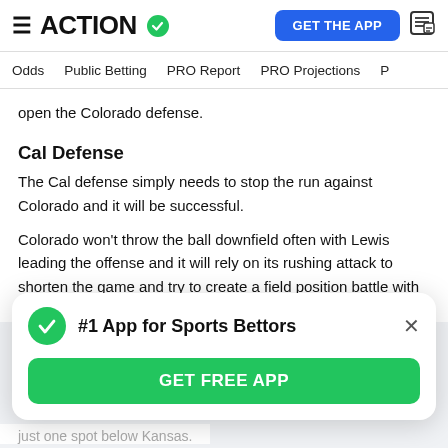ACTION (logo with checkmark) | GET THE APP (button)
Odds | Public Betting | PRO Report | PRO Projections
open the Colorado defense.
Cal Defense
The Cal defense simply needs to stop the run against Colorado and it will be successful.
Colorado won't throw the ball downfield often with Lewis leading the offense and it will rely on its rushing attack to shorten the game and try to create a field position battle with Cal.
[Figure (infographic): #1 App for Sports Bettors popup with green checkmark icon, GET FREE APP green button, and X close button]
just one spot below Kansas.